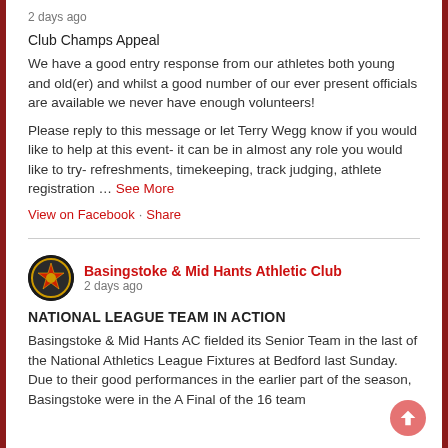2 days ago
Club Champs Appeal
We have a good entry response from our athletes both young and old(er) and whilst a good number of our ever present officials are available we never have enough volunteers!
Please reply to this message or let Terry Wegg know if you would like to help at this event- it can be in almost any role you would like to try- refreshments, timekeeping, track judging, athlete registration … See More
View on Facebook · Share
[Figure (logo): Basingstoke & Mid Hants Athletic Club circular badge logo with red and gold star/shield design on black background]
Basingstoke & Mid Hants Athletic Club
2 days ago
NATIONAL LEAGUE TEAM IN ACTION
Basingstoke & Mid Hants AC fielded its Senior Team in the last of the National Athletics League Fixtures at Bedford last Sunday. Due to their good performances in the earlier part of the season, Basingstoke were in the A Final of the 16 team